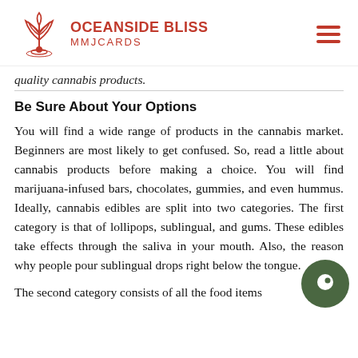OCEANSIDE BLISS MMJCARDS
quality cannabis products.
Be Sure About Your Options
You will find a wide range of products in the cannabis market. Beginners are most likely to get confused. So, read a little about cannabis products before making a choice. You will find marijuana-infused bars, chocolates, gummies, and even hummus. Ideally, cannabis edibles are split into two categories. The first category is that of lollipops, sublingual, and gums. These edibles take effects through the saliva in your mouth. Also, the reason why people pour sublingual drops right below the tongue.
The second category consists of all the food items